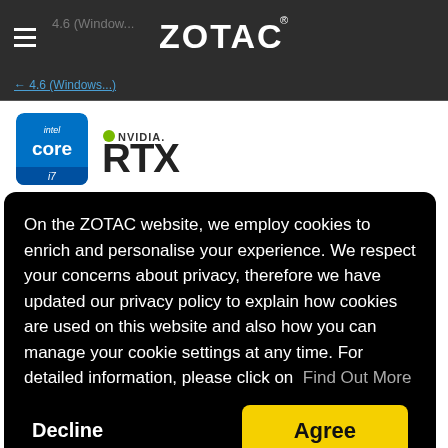ZOTAC
4.6 (Windows...)
[Figure (logo): Intel Core i7 badge logo]
[Figure (logo): NVIDIA RTX logo]
Intel Core i7-11800H (8-core, 2.3 GHz, up to 4.6 GHz)
On the ZOTAC website, we employ cookies to enrich and personalise your experience. We respect your concerns about privacy, therefore we have updated our privacy policy to explain how cookies are used on this website and also how you can manage your cookie settings at any time. For detailed information, please click on Find Out More
Decline
Agree